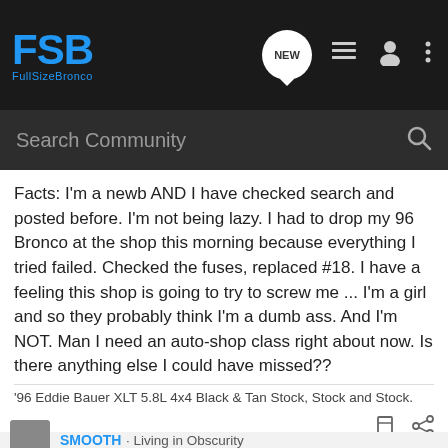[Figure (screenshot): FSB FullSizeBronco forum navigation bar with logo, NEW bubble icon, list icon, user icon, and dots menu icon on dark background]
[Figure (screenshot): Search Community search bar on dark background with magnifying glass icon]
Facts: I'm a newb AND I have checked search and posted before. I'm not being lazy. I had to drop my 96 Bronco at the shop this morning because everything I tried failed. Checked the fuses, replaced #18. I have a feeling this shop is going to try to screw me ... I'm a girl and so they probably think I'm a dumb ass. And I'm NOT. Man I need an auto-shop class right about now. Is there anything else I could have missed??
'96 Eddie Bauer XLT 5.8L 4x4 Black & Tan Stock, Stock and Stock.
SMOOTH · Living in Obscurity